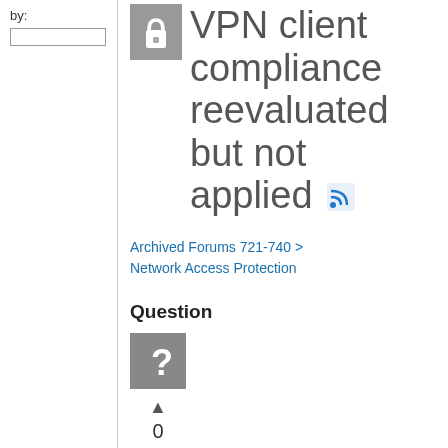by:
VPN client compliance reevaluated but not applied
Archived Forums 721-740 > Network Access Protection
Question
[Figure (other): Gray question mark avatar icon]
▲ 0 Sign in to vote